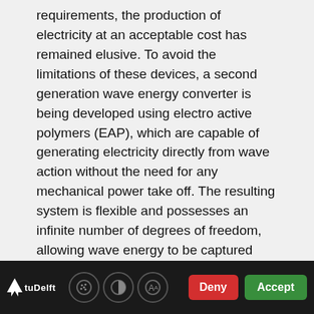requirements, the production of electricity at an acceptable cost has remained elusive. To avoid the limitations of these devices, a second generation wave energy converter is being developed using electro active polymers (EAP), which are capable of generating electricity directly from wave action without the need for any mechanical power take off. The resulting system is flexible and possesses an infinite number of degrees of freedom, allowing wave energy to be captured more efficiently than with conventional devices.  Deployed offshore, such a device would have no complex mechanical parts, would function silently, and would require minimal maintenance. The economics of such a system lead to predictions of a cost of electricity significantly below the levels of the first generation
This website uses cookies. By clicking "accept" you give your permission to this website to use cookies. What are cookies?
TUDelft  Deny  Accept